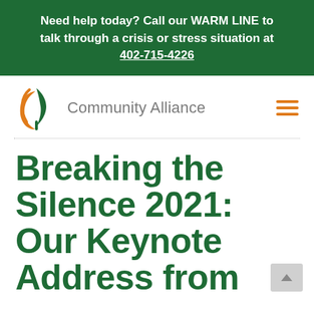Need help today? Call our WARM LINE to talk through a crisis or stress situation at 402-715-4226
[Figure (logo): Community Alliance logo: orange crescent and leaf/plant icon on left, gray 'Community Alliance' text on right, orange hamburger menu icon on far right]
Breaking the Silence 2021: Our Keynote Address from